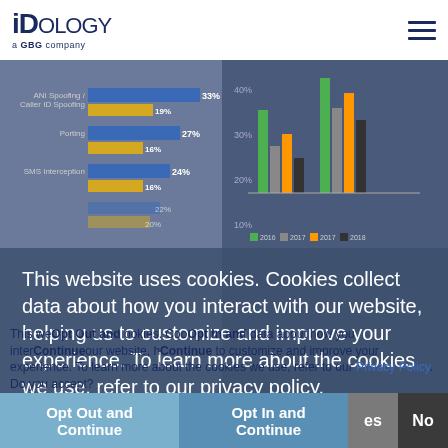[Figure (logo): IDology a GBG company logo, dark navy blue text]
[Figure (infographic): Two side-by-side bar charts from IDology fraud report, partially visible behind cookie consent overlay. Left chart: horizontal bars showing ANI Spoofing/Caller ID Spoofing 33% (blue) 19% (gold), Porting 27% (blue) 16% (gold), SMS Interception 24% (blue) 16% (gold). Right chart: grouped vertical bar chart with percentages at 20%, 30%, 40% on y-axis.]
This website uses cookies. Cookies collect data about how you interact with our website, helping us to customize and improve your experience. To learn more about the cookies we use, refer to our privacy policy.
This website uses cookies. Cookies collect data about how you interact with our website, helping us to customize and improve your experience. To learn more about the cookies we use, refer to our Privacy Policy. Do you accept?